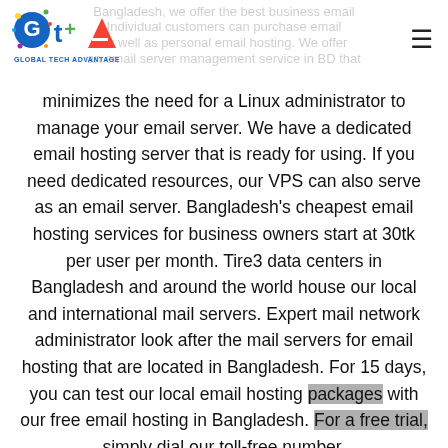Global Tech Advantage logo and navigation
Bangladesh, we offer the best business email. Individual customers can purchase email as well as personal email hosting. We offer an email server management service in BD that minimizes the need for a Linux administrator to manage your email server. We have a dedicated email hosting server that is ready for using. If you need dedicated resources, our VPS can also serve as an email server. Bangladesh's cheapest email hosting services for business owners start at 30tk per user per month. Tire3 data centers in Bangladesh and around the world house our local and international mail servers. Expert mail network administrator look after the mail servers for email hosting that are located in Bangladesh. For 15 days, you can test our local email hosting packages with our free email hosting in Bangladesh. For a free trial, simply dial our toll-free number.